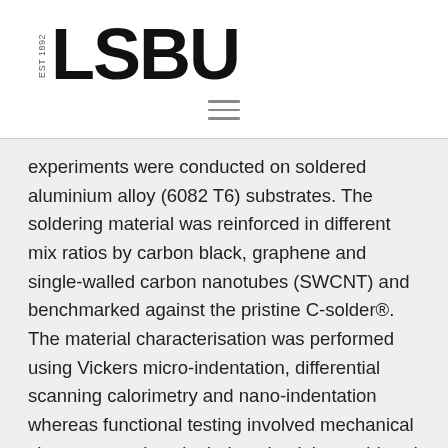[Figure (logo): LSBU logo with EST 1892 text in vertical orientation next to large bold LSBU wordmark]
[Figure (other): Hamburger menu icon with three horizontal lines]
experiments were conducted on soldered aluminium alloy (6082 T6) substrates. The soldering material was reinforced in different mix ratios by carbon black, graphene and single-walled carbon nanotubes (SWCNT) and benchmarked against the pristine C-solder®. The material characterisation was performed using Vickers micro-indentation, differential scanning calorimetry and nano-indentation whereas functional testing involved mechanical shear tests using single-lap aluminium soldered joints and creep tests. The hardness was observed to improve in all cases except for the 0.01 wt% graphene reinforced solders, with 5% and 4% improvements in 0.05 carbon black and SWCNT